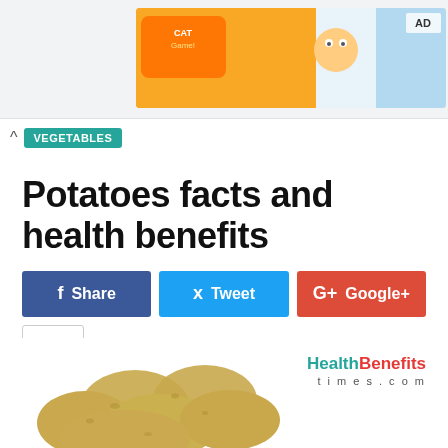[Figure (screenshot): Advertisement banner top right showing a cat game app ad with colorful cartoon characters]
VEGETABLES
Potatoes facts and health benefits
[Figure (screenshot): Social sharing buttons: Facebook Share, Twitter Tweet, Google+ Google+, and a plus (+) button]
[Figure (photo): Pile of raw yellow/tan potatoes on white background with HealthBenefits times.com watermark]